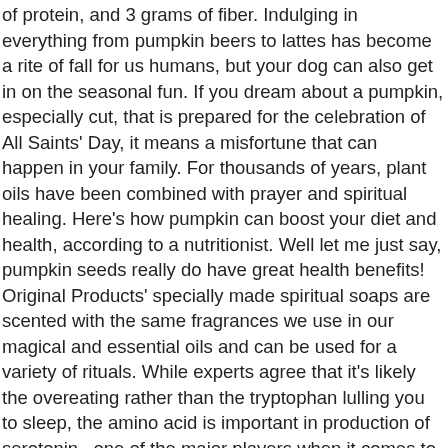of protein, and 3 grams of fiber. Indulging in everything from pumpkin beers to lattes has become a rite of fall for us humans, but your dog can also get in on the seasonal fun. If you dream about a pumpkin, especially cut, that is prepared for the celebration of All Saints' Day, it means a misfortune that can happen in your family. For thousands of years, plant oils have been combined with prayer and spiritual healing. Here's how pumpkin can boost your diet and health, according to a nutritionist. Well let me just say, pumpkin seeds really do have great health benefits! Original Products' specially made spiritual soaps are scented with the same fragrances we use in our magical and essential oils and can be used for a variety of rituals. While experts agree that it's likely the overeating rather than the tryptophan lulling you to sleep, the amino acid is important in production of serotonin , one of the major players when it comes to our mood, WebMD reports. 1. (Deut. Cats and dogs are carnivores (meat eaters), both requiring a high protein diet. Health benefits of Pumpkin It is one of the very low calorie